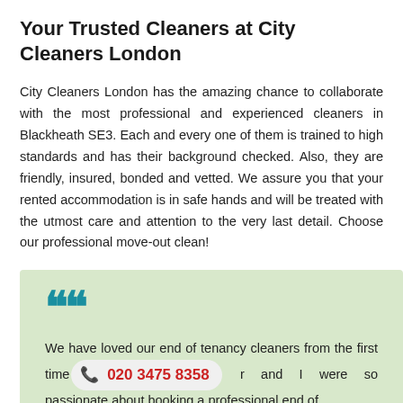Your Trusted Cleaners at City Cleaners London
City Cleaners London has the amazing chance to collaborate with the most professional and experienced cleaners in Blackheath SE3. Each and every one of them is trained to high standards and has their background checked. Also, they are friendly, insured, bonded and vetted. We assure you that your rented accommodation is in safe hands and will be treated with the utmost care and attention to the very last detail. Choose our professional move-out clean!
We have loved our end of tenancy cleaners from the first time [020 3475 8358] r and I were so passionate about booking a professional end of